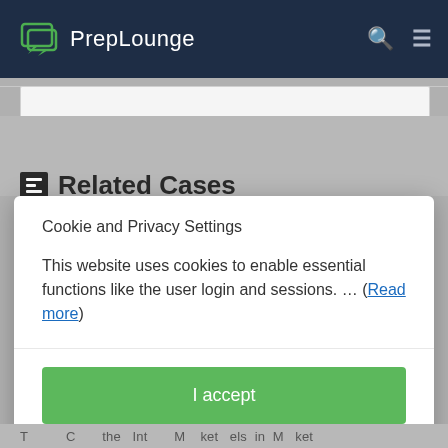PrepLounge
Related Cases
Cookie and Privacy Settings
This website uses cookies to enable essential functions like the user login and sessions. ... (Read more)
I accept
Manage settings individually